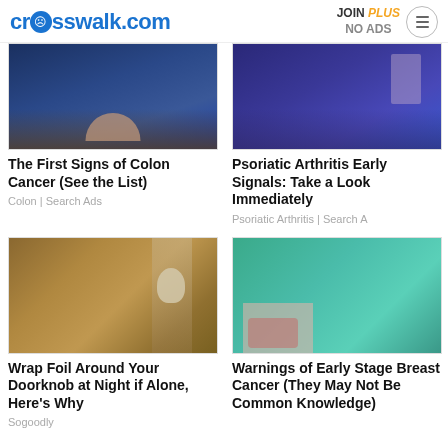crosswalk.com | JOIN PLUS NO ADS
[Figure (photo): Close-up of person's midsection in jeans, hands clasped in front - article thumbnail for colon cancer signs]
The First Signs of Colon Cancer (See the List)
Colon | Search Ads
[Figure (photo): Close-up of person's midsection in purple pants - article thumbnail for psoriatic arthritis]
Psoriatic Arthritis Early Signals: Take a Look Immediately
Psoriatic Arthritis | Search A
[Figure (photo): Doorknob wrapped in foil on a wooden door - article thumbnail]
Wrap Foil Around Your Doorknob at Night if Alone, Here's Why
Sogoodly
[Figure (photo): Person in teal shirt scratching chest - article thumbnail for breast cancer warning signs]
Warnings of Early Stage Breast Cancer (They May Not Be Common Knowledge)